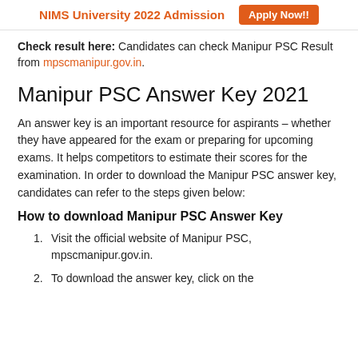NIMS University 2022 Admission   Apply Now!!
Check result here: Candidates can check Manipur PSC Result from mpscmanipur.gov.in.
Manipur PSC Answer Key 2021
An answer key is an important resource for aspirants – whether they have appeared for the exam or preparing for upcoming exams. It helps competitors to estimate their scores for the examination. In order to download the Manipur PSC answer key, candidates can refer to the steps given below:
How to download Manipur PSC Answer Key
Visit the official website of Manipur PSC, mpscmanipur.gov.in.
To download the answer key, click on the